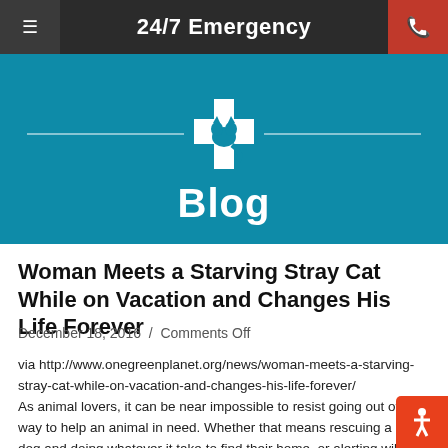24/7 Emergency
Blog
Woman Meets a Starving Stray Cat While on Vacation and Changes His Life Forever
December 18, 2016  /  Comments Off
via http://www.onegreenplanet.org/news/woman-meets-a-starving-stray-cat-while-on-vacation-and-changes-his-life-forever/ As animal lovers, it can be near impossible to resist going out of our way to help an animal in need. Whether that means rescuing a lost dog and doing whatever it take to find their home, or alerting wildlife rehabilitators to a baby squirrel that has lost its mother, there is no task to great…